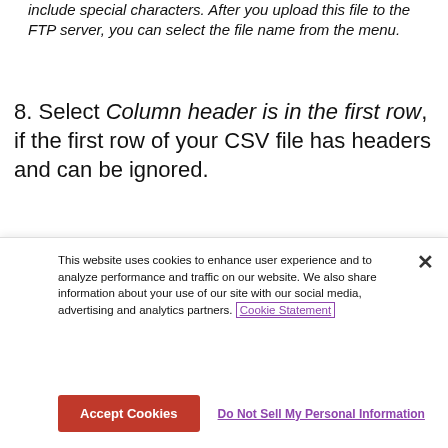include special characters. After you upload this file to the FTP server, you can select the file name from the menu.
8. Select Column header is in the first row, if the first row of your CSV file has headers and can be ignored.
[Figure (screenshot): Screenshot of a web application showing a 'Connectors' panel with a dark left navigation sidebar (Users & Groups, Configure, SSO, Channel Library, Section Assets, Calendar Assets) and a right panel with purple header 'Connectors' and tabs (Connectors, Filters, Setup, Now in...), showing a form with 'Connector Name' field.]
This website uses cookies to enhance user experience and to analyze performance and traffic on our website. We also share information about your use of our site with our social media, advertising and analytics partners. Cookie Statement
Accept Cookies   Do Not Sell My Personal Information